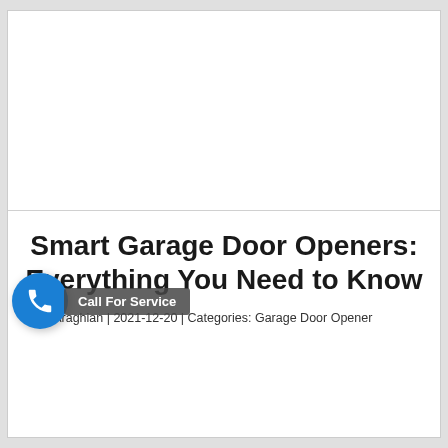[Figure (photo): White/blank image area at top of article page]
Smart Garage Door Openers: Everything You Need to Know
Ram Araghian | 2021-12-20 | Categories: Garage Door Opener